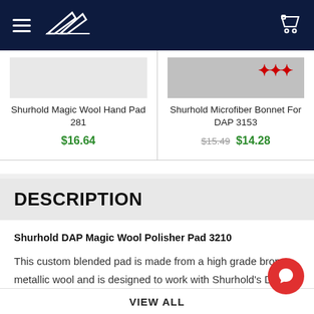Navigation bar with hamburger menu, logo, and cart icon
Shurhold Magic Wool Hand Pad 281 $16.64
Shurhold Microfiber Bonnet For DAP 3153 $15.49 $14.28
DESCRIPTION
Shurhold DAP Magic Wool Polisher Pad 3210
This custom blended pad is made from a high grade bronze metallic wool and is designed to work with Shurhold's Dual Action Polisher. Similar to steel but much finer and sm...
VIEW ALL